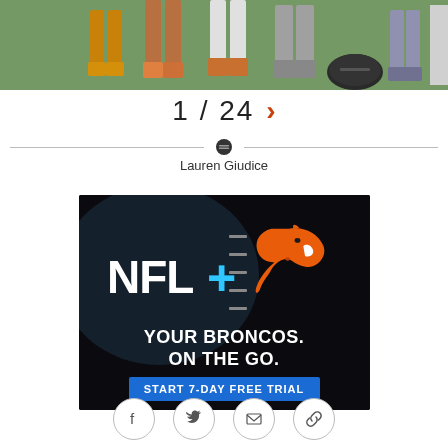[Figure (photo): Photo strip showing legs and feet of football players on a grass field, some wearing orange cleats, with a football helmet visible]
1 / 24 >
Lauren Giudice
[Figure (illustration): NFL+ advertisement featuring NFL+ logo with blue plus sign, Denver Broncos horse logo, text 'YOUR BRONCOS. ON THE GO.' and 'START 7-DAY FREE TRIAL' button on dark background]
[Figure (other): Social share buttons row: Facebook, Twitter, Email, Link icons in circular outlines]